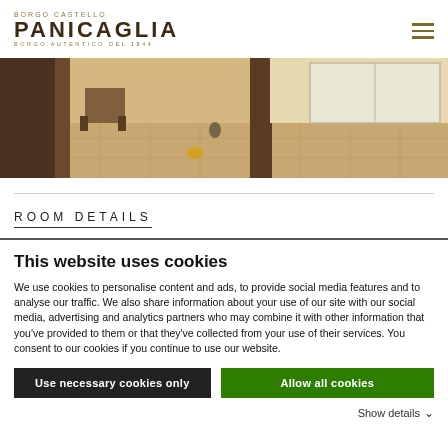BORGO CASTELLO PANICAGLIA · BORGO AUTENTICO DEL 1844
[Figure (photo): Interior room photo showing wooden furniture, tiled floor, and a corridor area with natural light]
ROOM DETAILS
This website uses cookies
We use cookies to personalise content and ads, to provide social media features and to analyse our traffic. We also share information about your use of our site with our social media, advertising and analytics partners who may combine it with other information that you've provided to them or that they've collected from your use of their services. You consent to our cookies if you continue to use our website.
Use necessary cookies only
Allow all cookies
Show details